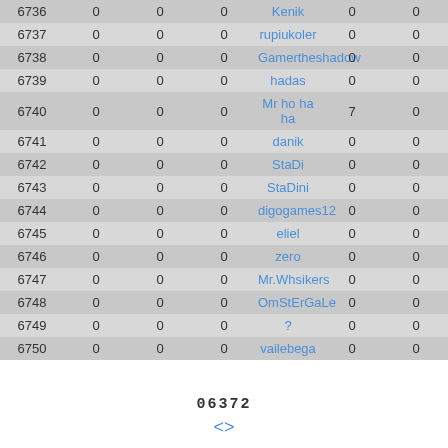| # | col2 | col3 | col4 | name | col6 | col7 |
| --- | --- | --- | --- | --- | --- | --- |
| 6736 | 0 | 0 | 0 | Kenik | 0 | 0 |
| 6737 | 0 | 0 | 0 | rupiukoler | 0 | 0 |
| 6738 | 0 | 0 | 0 | Gamertheshadow | 0 | 0 |
| 6739 | 0 | 0 | 0 | hadas | 0 | 0 |
| 6740 | 0 | 0 | 0 | Mr ho ha ha | 7 | 0 |
| 6741 | 0 | 0 | 0 | danik | 0 | 0 |
| 6742 | 0 | 0 | 0 | StaDi | 0 | 0 |
| 6743 | 0 | 0 | 0 | StaDini | 0 | 0 |
| 6744 | 0 | 0 | 0 | digogames12 | 0 | 0 |
| 6745 | 0 | 0 | 0 | eliel | 0 | 0 |
| 6746 | 0 | 0 | 0 | zero | 0 | 0 |
| 6747 | 0 | 0 | 0 | Mr.Whsikers | 0 | 0 |
| 6748 | 0 | 0 | 0 | OmStErGaLe | 0 | 0 |
| 6749 | 0 | 0 | 0 | ? | 0 | 0 |
| 6750 | 0 | 0 | 0 | vailebega | 0 | 0 |
06372